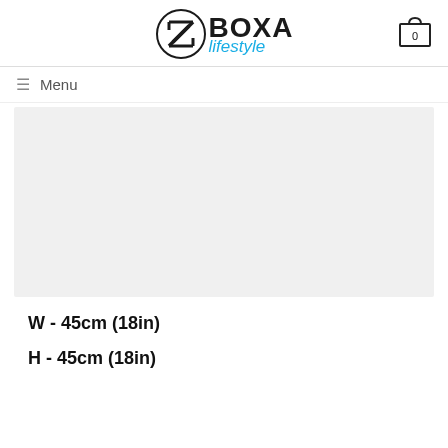[Figure (logo): BOXA lifestyle logo with circular icon and cart icon with 0]
≡ Menu
[Figure (photo): Product image placeholder, light grey rectangle]
W - 45cm (18in)
H - 45cm (18in)